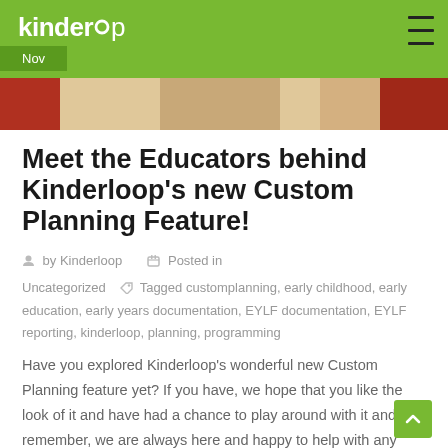kinderloop  Nov
Meet the Educators behind Kinderloop's new Custom Planning Feature!
by Kinderloop   Posted in Uncategorized   Tagged customplanning, early childhood, early education, early years documentation, EYLF documentation, EYLF reporting, kinderloop, planning, programming
Have you explored Kinderloop's wonderful new Custom Planning feature yet? If you have, we hope that you like the look of it and have had a chance to play around with it and remember, we are always here and happy to help with any planning questions you might have!  Our team